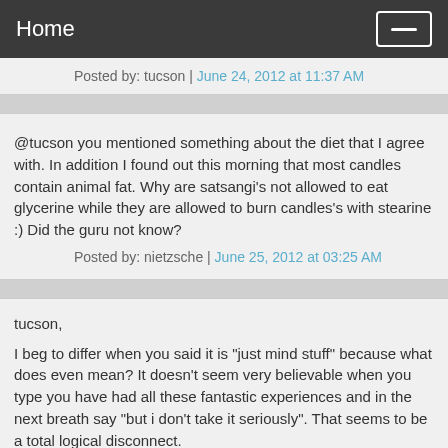Home
Posted by: tucson | June 24, 2012 at 11:37 AM
@tucson you mentioned something about the diet that I agree with. In addition I found out this morning that most candles contain animal fat. Why are satsangi's not allowed to eat glycerine while they are allowed to burn candles's with stearine :) Did the guru not know?
Posted by: nietzsche | June 25, 2012 at 03:25 AM
tucson,
I beg to differ when you said it is "just mind stuff" because what does even mean? It doesn't seem very believable when you type you have had all these fantastic experiences and in the next breath say "but i don't take it seriously". That seems to be a total logical disconnect.